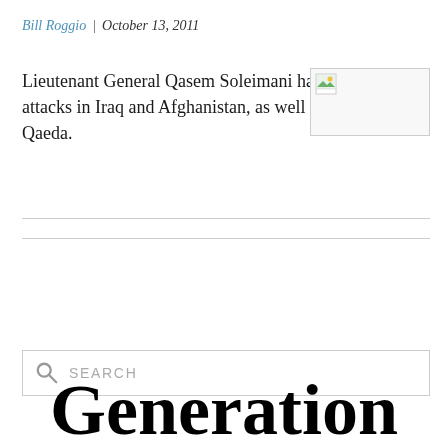Bill Roggio | October 13, 2011
Lieutenant General Qasem Soleimani has directed attacks in Iraq and Afghanistan, as well as aided al Qaeda.
[Figure (photo): Thumbnail image placeholder with broken image icon]
SEARCH
Generation